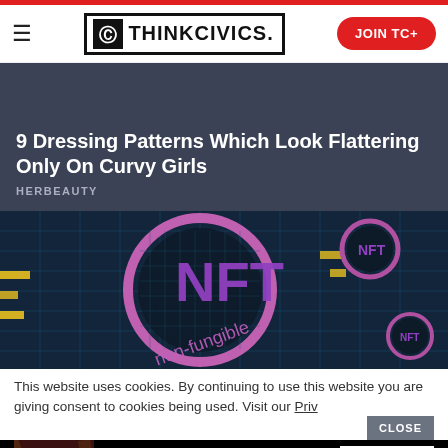ThinkCivics. — JOIN TC+
[Figure (illustration): Promotional card with dark blue-gray background showing article preview: '9 Dressing Patterns Which Look Flattering Only On Curvy Girls' by HERBEAUTY]
[Figure (photo): NFT (non-fungible token) themed image showing magnifying glass over circuit board with text 'NFT' and 'non-fungible' in purple letters, multiple smaller NFT coin graphics]
This website uses cookies. By continuing to use this website you are giving consent to cookies being used. Visit our Privacy and Cookie
[Figure (photo): Macy's advertisement banner: 'KISS BORING LIPS GOODBYE' with SHOP NOW button and Macy's star logo, featuring woman with red lips]